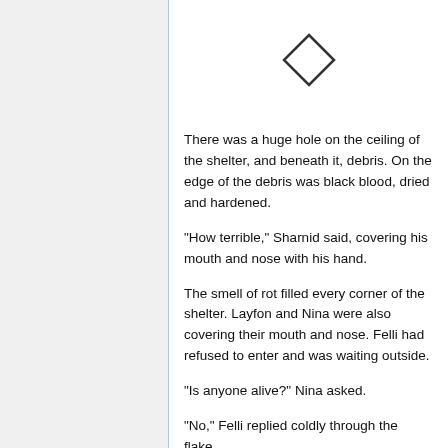[Figure (illustration): A diamond/rhombus outline shape used as a decorative section divider]
There was a huge hole on the ceiling of the shelter, and beneath it, debris. On the edge of the debris was black blood, dried and hardened.
"How terrible," Sharnid said, covering his mouth and nose with his hand.
The smell of rot filled every corner of the shelter. Layfon and Nina were also covering their mouth and nose. Felli had refused to enter and was waiting outside.
"Is anyone alive?" Nina asked.
"No," Felli replied coldly through the flake.
"Damn," she stomped the ground.